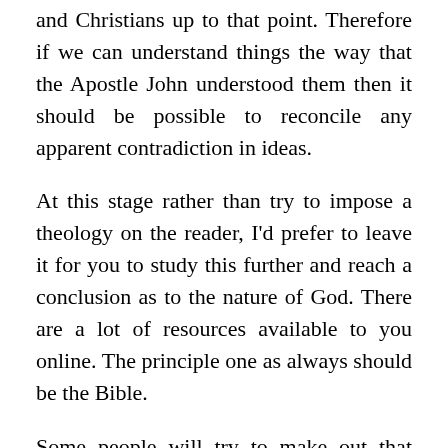and Christians up to that point. Therefore if we can understand things the way that the Apostle John understood them then it should be possible to reconcile any apparent contradiction in ideas.
At this stage rather than try to impose a theology on the reader, I'd prefer to leave it for you to study this further and reach a conclusion as to the nature of God. There are a lot of resources available to you online. The principle one as always should be the Bible.
Some people will try to make out that there is a simple answer that is easily supported by every scripture. My advice to you is to be wary if someone tries to teach you that. At the very least a Christian should acknowledge that any firm position a person might take on this subject will